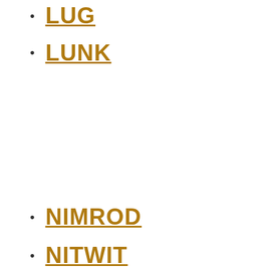LUG
LUNK
NIMROD
NITWIT
OAF
PEABRAIN